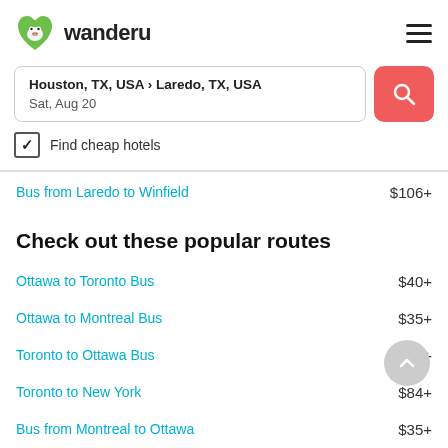[Figure (logo): Wanderu green monkey logo with text 'wanderu']
Houston, TX, USA › Laredo, TX, USA
Sat, Aug 20
Find cheap hotels
Bus from Laredo to Winfield   $106+
Check out these popular routes
Ottawa to Toronto Bus   $40+
Ottawa to Montreal Bus   $35+
Toronto to Ottawa Bus   $39+
Toronto to New York   $84+
Bus from Montreal to Ottawa   $35+